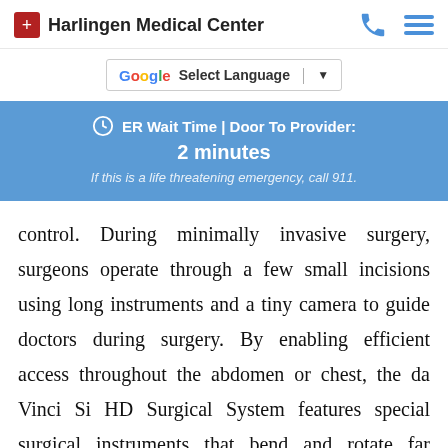Harlingen Medical Center
[Figure (other): Google Translate Select Language widget]
ER Wait Time | Door To Provider: 2 minutes. If this is a life threatening emergency, call 911.
control. During minimally invasive surgery, surgeons operate through a few small incisions using long instruments and a tiny camera to guide doctors during surgery. By enabling efficient access throughout the abdomen or chest, the da Vinci Si HD Surgical System features special surgical instruments that bend and rotate far greater than the